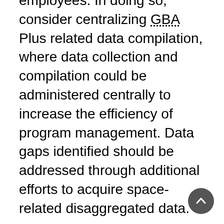employees. In doing so, consider centralizing GBA Plus related data compilation, where data collection and compilation could be administered centrally to increase the efficiency of program management. Data gaps identified should be addressed through additional efforts to acquire space-related disaggregated data.
3. Clarify the CSA's strategic direction and main objectives for GBA Plus by outlining what the CSA wants to achieve and how, and by defining the expectations with regards to applying